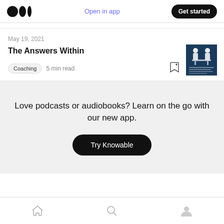Open in app  Get started
May 19, 2021
The Answers Within
Coaching  5 min read
[Figure (photo): Article thumbnail image showing two figures at a desk, dark blue background with white text below]
Love podcasts or audiobooks? Learn on the go with our new app.
Try Knowable
Home  Search  Profile